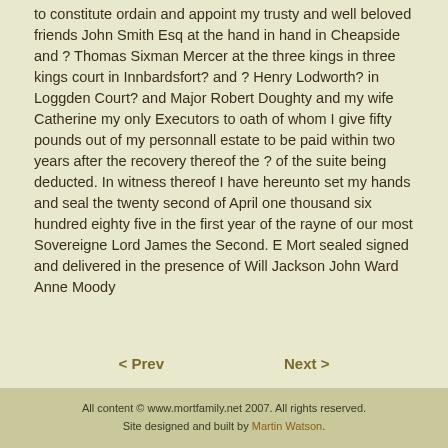to constitute ordain and appoint my trusty and well beloved friends John Smith Esq at the hand in hand in Cheapside and ? Thomas Sixman Mercer at the three kings in three kings court in Innbardsfort? and ? Henry Lodworth? in Loggden Court? and Major Robert Doughty and my wife Catherine my only Executors to oath of whom I give fifty pounds out of my personnall estate to be paid within two years after the recovery thereof the ? of the suite being deducted. In witness thereof I have hereunto set my hands and seal the twenty second of April one thousand six hundred eighty five in the first year of the rayne of our most Sovereigne Lord James the Second. E Mort sealed signed and delivered in the presence of Will Jackson John Ward Anne Moody
< Prev    Next >
All content © www.mortfamily.net 2007. All rights reserved. Site designed and built by Martin Watson.